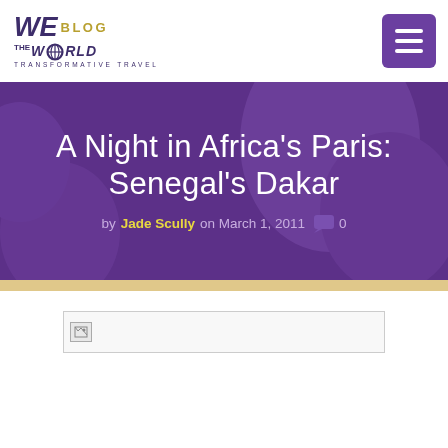WE BLOG THE WORLD — TRANSFORMATIVE TRAVEL
A Night in Africa's Paris: Senegal's Dakar
by Jade Scully on March 1, 2011  0
[Figure (photo): Broken/missing image placeholder for an article photo]